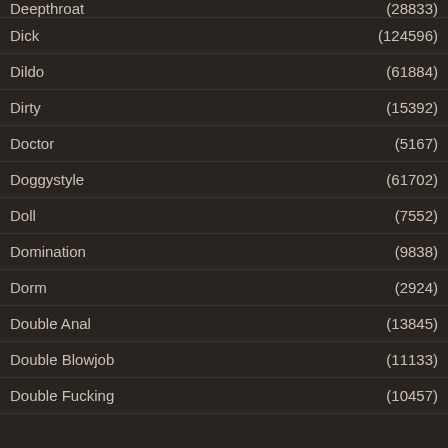Deepthroat (28833)
Dick (124596)
Dildo (61884)
Dirty (15392)
Doctor (5167)
Doggystyle (61702)
Doll (7552)
Domination (9838)
Dorm (2924)
Double Anal (13845)
Double Blowjob (11133)
Double Fucking (10457)